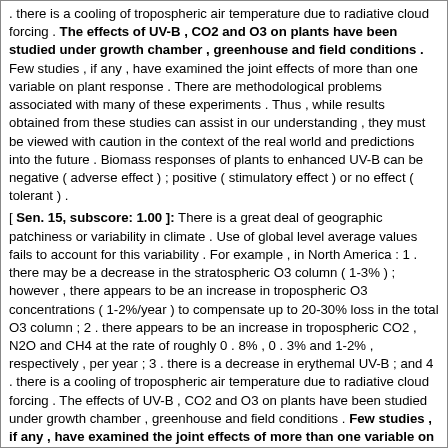. there is a cooling of tropospheric air temperature due to radiative cloud forcing . The effects of UV-B , CO2 and O3 on plants have been studied under growth chamber , greenhouse and field conditions . Few studies , if any , have examined the joint effects of more than one variable on plant response . There are methodological problems associated with many of these experiments . Thus , while results obtained from these studies can assist in our understanding , they must be viewed with caution in the context of the real world and predictions into the future . Biomass responses of plants to enhanced UV-B can be negative ( adverse effect ) ; positive ( stimulatory effect ) or no effect ( tolerant ) .
[ Sen. 15, subscore: 1.00 ]: There is a great deal of geographic patchiness or variability in climate . Use of global level average values fails to account for this variability . For example , in North America : 1 . there may be a decrease in the stratospheric O3 column ( 1-3% ) ; however , there appears to be an increase in tropospheric O3 concentrations ( 1-2%/year ) to compensate up to 20-30% loss in the total O3 column ; 2 . there appears to be an increase in tropospheric CO2 , N2O and CH4 at the rate of roughly 0 . 8% , 0 . 3% and 1-2% , respectively , per year ; 3 . there is a decrease in erythemal UV-B ; and 4 . there is a cooling of tropospheric air temperature due to radiative cloud forcing . The effects of UV-B , CO2 and O3 on plants have been studied under growth chamber , greenhouse and field conditions . Few studies , if any , have examined the joint effects of more than one variable on plant response . There are methodological problems associated with many of these experiments . Thus , while results obtained from these studies can assist in our understanding , they must be viewed with caution in the context of the real world and predictions into the future . Biomass responses of plants to enhanced UV-B can be negative ( adverse effect ) ; positive ( stimulatory effect ) or no effect ( tolerant ) .